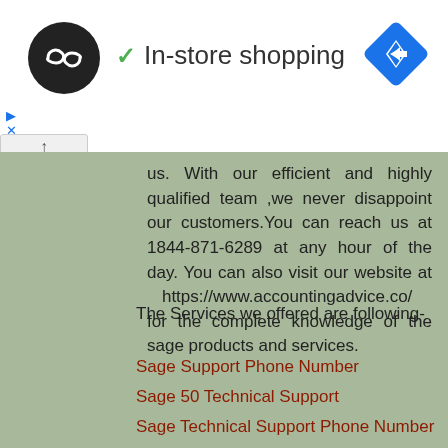[Figure (logo): Black circle logo with double arrow/infinity symbol in white]
✓ In-store shopping
[Figure (illustration): Blue diamond navigation/directions icon in top right]
us. With our efficient and highly qualified team ,we never disappoint our customers.You can reach us at 1844-871-6289 at any hour of the day. You can also visit our website at https://www.accountingadvice.co/ for the complete knowledge of the sage products and services.
The Services we offered are following-
Sage Support Phone Number
Sage 50 Technical Support
Sage Technical Support Phone Number
Sage 100 support phone number